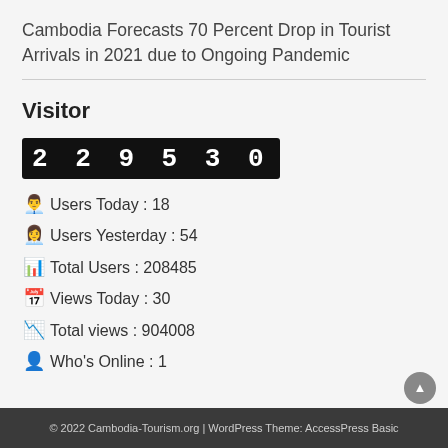Cambodia Forecasts 70 Percent Drop in Tourist Arrivals in 2021 due to Ongoing Pandemic
Visitor
2 2 9 5 3 0
Users Today : 18
Users Yesterday : 54
Total Users : 208485
Views Today : 30
Total views : 904008
Who's Online : 1
© 2022 Cambodia-Tourism.org | WordPress Theme: AccessPress Basic